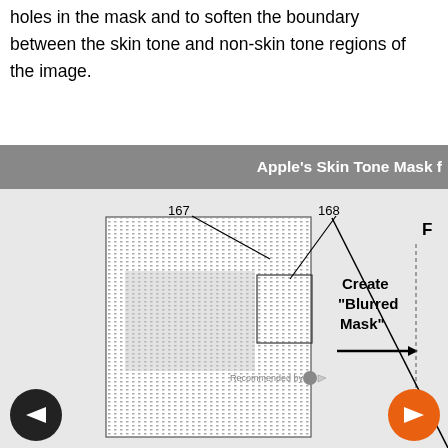holes in the mask and to soften the boundary between the skin tone and non-skin tone regions of the image.
[Figure (engineering-diagram): Apple's Skin Tone Mask figure showing a blurred mask diagram with labeled elements 167 and 168, a 'Create Blurred Mask' label with arrow, navigation buttons, and a recommended bar overlay.]